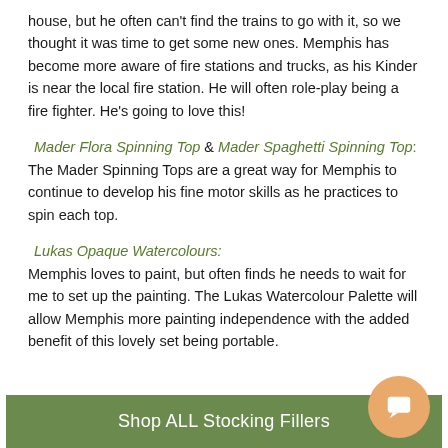house, but he often can't find the trains to go with it, so we thought it was time to get some new ones. Memphis has become more aware of fire stations and trucks, as his Kinder is near the local fire station. He will often role-play being a fire fighter. He's going to love this!
Mader Flora Spinning Top & Mader Spaghetti Spinning Top: The Mader Spinning Tops are a great way for Memphis to continue to develop his fine motor skills as he practices to spin each top.
Lukas Opaque Watercolours: Memphis loves to paint, but often finds he needs to wait for me to set up the painting. The Lukas Watercolour Palette will allow Memphis more painting independence with the added benefit of this lovely set being portable.
Shop ALL Stocking Fillers